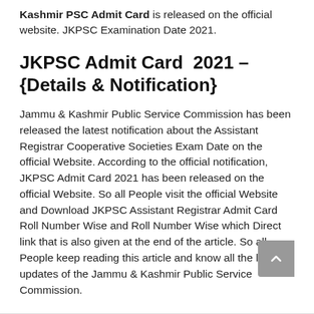Kashmir PSC Admit Card is released on the official website. JKPSC Examination Date 2021.
JKPSC Admit Card 2021 – {Details & Notification}
Jammu & Kashmir Public Service Commission has been released the latest notification about the Assistant Registrar Cooperative Societies Exam Date on the official Website. According to the official notification, JKPSC Admit Card 2021 has been released on the official Website. So all People visit the official Website and Download JKPSC Assistant Registrar Admit Card Roll Number Wise and Roll Number Wise which Direct link that is also given at the end of the article. So all People keep reading this article and know all the latest updates of the Jammu & Kashmir Public Service Commission.